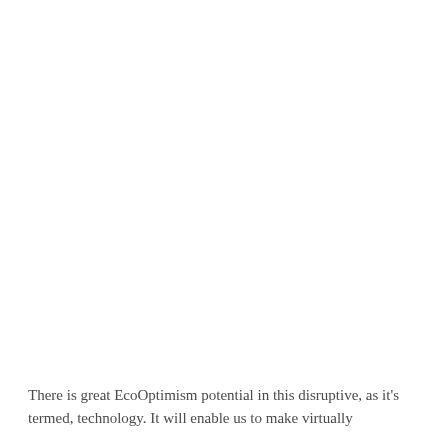There is great EcoOptimism potential in this disruptive, as it's termed, technology. It will enable us to make virtually